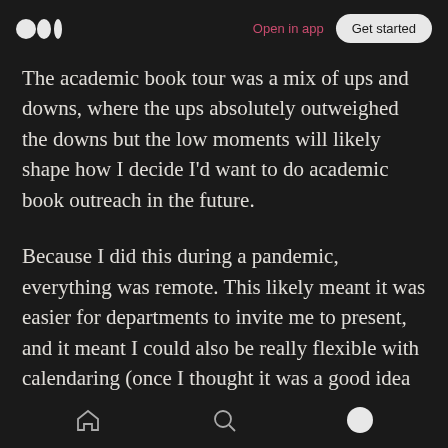Medium logo | Open in app | Get started
The academic book tour was a mix of ups and downs, where the ups absolutely outweighed the downs but the low moments will likely shape how I decide I'd want to do academic book outreach in the future.
Because I did this during a pandemic, everything was remote. This likely meant it was easier for departments to invite me to present, and it meant I could also be really flexible with calendaring (once I thought it was a good idea to schedule three talks in the same day). I soon learned that
Home | Search | Profile